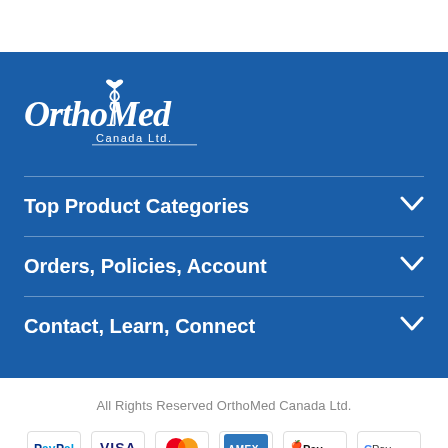[Figure (logo): OrthoMed Canada Ltd. logo in white on blue background, stylized script text with caduceus symbol]
Top Product Categories
Orders, Policies, Account
Contact, Learn, Connect
All Rights Reserved OrthoMed Canada Ltd.
[Figure (other): Payment method icons row: PayPal, Visa, Mastercard, American Express, Apple Pay, Google Pay]